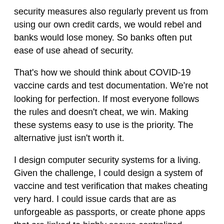security measures also regularly prevent us from using our own credit cards, we would rebel and banks would lose money. So banks often put ease of use ahead of security.
That's how we should think about COVID-19 vaccine cards and test documentation. We're not looking for perfection. If most everyone follows the rules and doesn't cheat, we win. Making these systems easy to use is the priority. The alternative just isn't worth it.
I design computer security systems for a living. Given the challenge, I could design a system of vaccine and test verification that makes cheating very hard. I could issue cards that are as unforgeable as passports, or create phone apps that are linked to highly secure centralized databases. I could build a massive surveillance apparatus and enforce the sorts of strict containment measures used in China's zero-COVID-19 policy. But the costs—in money, in liberty, in privacy—are too high. We can get most of the benefits with some pieces of paper and broad, but not universal, compliance with the rules.
It also helps that many of the people who break the rules are